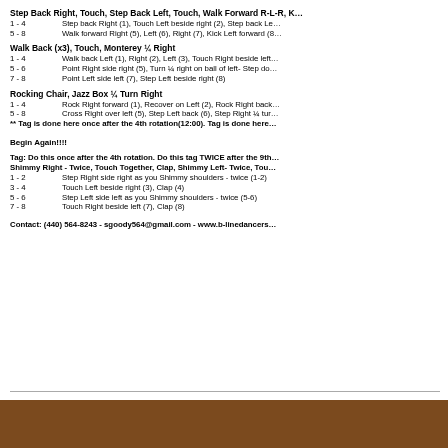Step Back Right, Touch, Step Back Left, Touch, Walk Forward R-L-R, K…
1 - 4   Step back Right (1), Touch Left beside right (2), Step back Le…
5 - 8   Walk forward Right (5), Left (6), Right (7), Kick Left forward (8…
Walk Back (x3), Touch, Monterey ¼ Right
1 - 4   Walk back Left (1), Right (2), Left (3), Touch Right beside left…
5 - 6   Point Right side right (5), Turn ¼ right on ball of left- Step dow…
7 - 8   Point Left side left (7), Step Left beside right (8)
Rocking Chair, Jazz Box ¼ Turn Right
1 - 4   Rock Right forward (1), Recover on Left (2), Rock Right back…
5 - 8   Cross Right over left (5), Step Left back (6), Step Right ¼ tur…
** Tag is done here once after the 4th rotation(12:00). Tag is done here…
Begin Again!!!!
Tag: Do this once after the 4th rotation. Do this tag TWICE after the 9th…
Shimmy Right - Twice, Touch Together, Clap, Shimmy Left- Twice, Tou…
1 - 2   Step Right side right as you Shimmy shoulders - twice (1-2)
3 - 4   Touch Left beside right (3), Clap (4)
5 - 6   Step Left side left as you Shimmy shoulders - twice (5-6)
7 - 8   Touch Right beside left (7), Clap (8)
Contact: (440) 564-8243 - sgoody564@gmail.com - www.b-linedancers…